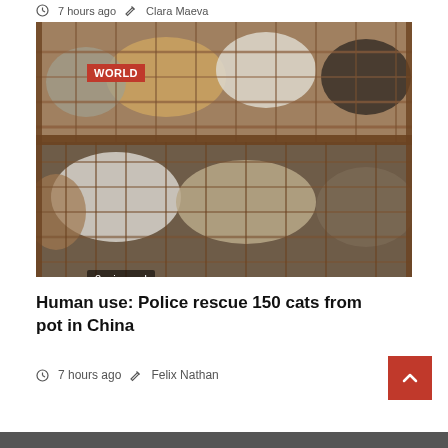7 hours ago  Clara Maeva
[Figure (photo): Multiple cats crowded inside wire cages stacked on top of each other]
WORLD
2 min read
Human use: Police rescue 150 cats from pot in China
7 hours ago  Felix Nathan